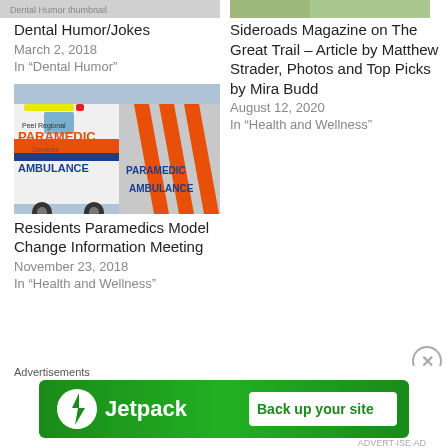[Figure (photo): Partial thumbnail image of dental humor post]
Dental Humor/Jokes
March 2, 2018
In "Dental Humor"
[Figure (photo): Partial thumbnail image of Sideroads Magazine Great Trail article]
Sideroads Magazine on The Great Trail – Article by Matthew Strader, Photos and Top Picks by Mira Budd
August 12, 2020
In "Health and Wellness"
[Figure (photo): Photo of Peel Regional Paramedic Services ambulance vehicles]
Residents Paramedics Model Change Information Meeting
November 23, 2018
In "Health and Wellness"
Advertisements
[Figure (logo): Jetpack advertisement banner with Back up your site button]